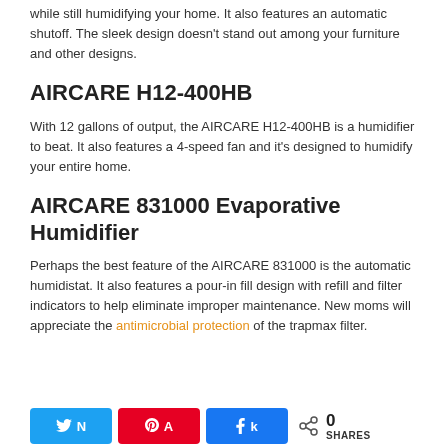while still humidifying your home. It also features an automatic shutoff. The sleek design doesn't stand out among your furniture and other designs.
AIRCARE H12-400HB
With 12 gallons of output, the AIRCARE H12-400HB is a humidifier to beat. It also features a 4-speed fan and it's designed to humidify your entire home.
AIRCARE 831000 Evaporative Humidifier
Perhaps the best feature of the AIRCARE 831000 is the automatic humidistat. It also features a pour-in fill design with refill and filter indicators to help eliminate improper maintenance. New moms will appreciate the antimicrobial protection of the trapmax filter.
[Figure (infographic): Social share buttons: Twitter (blue), Pinterest (red), Facebook (blue), and a share count showing 0 SHARES]